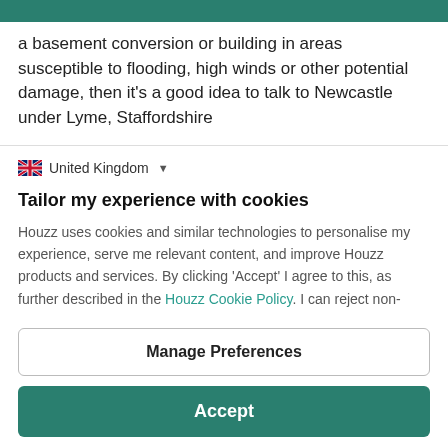a basement conversion or building in areas susceptible to flooding, high winds or other potential damage, then it's a good idea to talk to Newcastle under Lyme, Staffordshire
United Kingdom
Tailor my experience with cookies
Houzz uses cookies and similar technologies to personalise my experience, serve me relevant content, and improve Houzz products and services. By clicking 'Accept' I agree to this, as further described in the Houzz Cookie Policy. I can reject non-
Manage Preferences
Accept